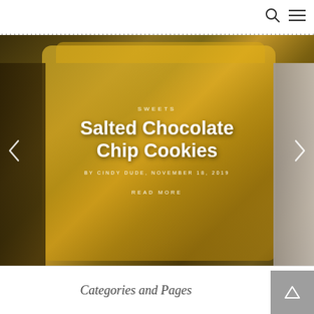[Figure (photo): Photo of a yellow bag of Kraft Premium Caramel Bits, 'Unwrapped for Easy Melting', 11oz (311g), shown on a countertop with other baking items in the background.]
SWEETS
Salted Chocolate Chip Cookies
BY CINDY DUDE, NOVEMBER 18, 2019
READ MORE
Categories and Pages